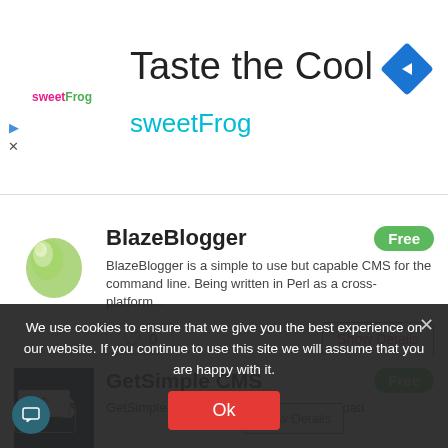[Figure (screenshot): Ad banner for sweetFrog with 'Taste the Cool' headline and cyan 'sweetFrog' subtext. Navigation arrow icon top right. Play and close icons on left. sweetFrog logo top left.]
BlazeBlogger
Free
BlazeBlogger is a simple to use but capable CMS for the command line. Being written in Perl as a cross-platform...
0
Show Details
GetSimple CMS
Free
GetSimple is an XML based lite Content load
We use cookies to ensure that we give you the best experience on our website. If you continue to use this site we will assume that you are happy with it.
Ok
0
Show Details